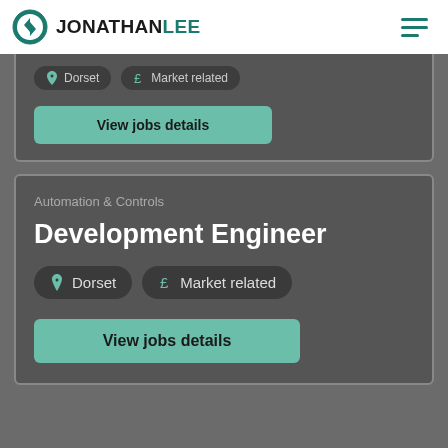JONATHAN LEE
[Figure (screenshot): Partial job card showing Dorset and Market related badges and View jobs details button]
Automation & Controls
Development Engineer
Dorset   Market related
View jobs details